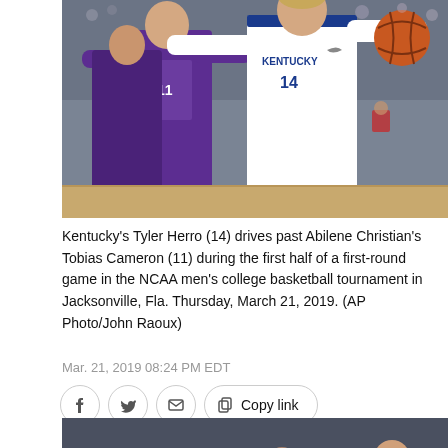[Figure (photo): Kentucky's Tyler Herro (#14, white Kentucky jersey) drives past Abilene Christian's Tobias Cameron (#11, purple jersey) during a basketball game. Players in action, basketball visible in Herro's right hand, crowd in background.]
Kentucky's Tyler Herro (14) drives past Abilene Christian's Tobias Cameron (11) during the first half of a first-round game in the NCAA men's college basketball tournament in Jacksonville, Fla. Thursday, March 21, 2019. (AP Photo/John Raoux)
Mar. 21, 2019 08:24 PM EDT
[Figure (photo): Partial view of a second basketball game photo, showing players on court, blue uniforms visible, partially cropped at bottom of page.]